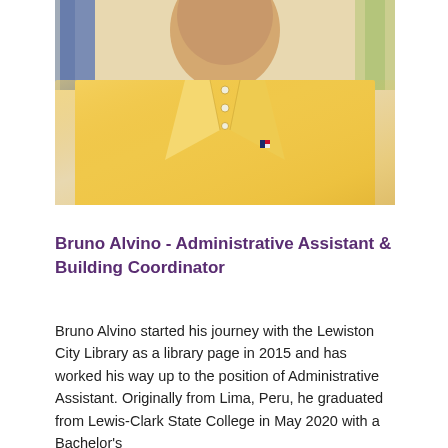[Figure (photo): Portrait photo of Bruno Alvino wearing a yellow/golden polo shirt with Tommy Hilfiger logo, photographed from chest up, colorful books visible in background]
Bruno Alvino - Administrative Assistant & Building Coordinator
Bruno Alvino started his journey with the Lewiston City Library as a library page in 2015 and has worked his way up to the position of Administrative Assistant. Originally from Lima, Peru, he graduated from Lewis-Clark State College in May 2020 with a Bachelor's